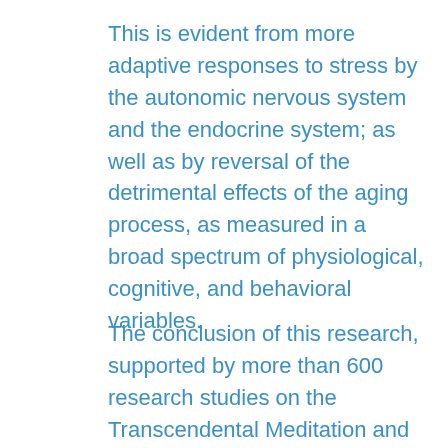This is evident from more adaptive responses to stress by the autonomic nervous system and the endocrine system; as well as by reversal of the detrimental effects of the aging process, as measured in a broad spectrum of physiological, cognitive, and behavioral variables.
The conclusion of this research, supported by more than 600 research studies on the Transcendental Meditation and TM-Sidhi programs and 40 years of educational experience, is that it is now possible to develop brain